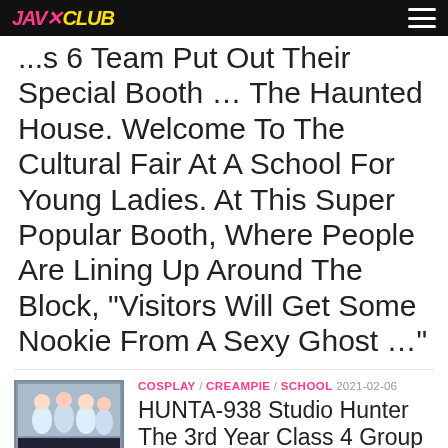JAV CLUB
...s 6 Team Put Out Their Special Booth … The Haunted House. Welcome To The Cultural Fair At A School For Young Ladies. At This Super Popular Booth, Where People Are Lining Up Around The Block, "Visitors Will Get Some Nookie From A Sexy Ghost …"
[Figure (photo): Thumbnail image of a group of young women in cosplay costumes on a DVD cover with Japanese text]
COSPLAY / CREAMPIE / SCHOOL  2021-02-06
HUNTA-938 Studio Hunter The 3rd Year Class 4 Group Put Out A Refreshment Booth At The